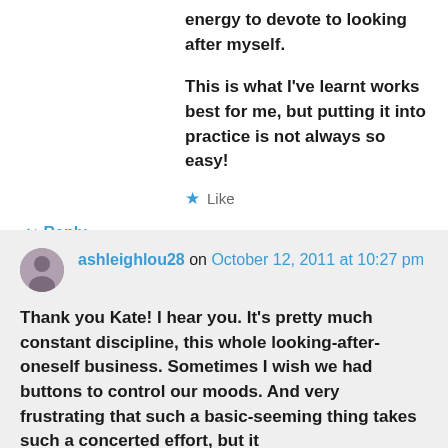energy to devote to looking after myself.
This is what I've learnt works best for me, but putting it into practice is not always so easy!
★ Like
↪ Reply
ashleighlou28 on October 12, 2011 at 10:27 pm
Thank you Kate! I hear you. It's pretty much constant discipline, this whole looking-after-oneself business. Sometimes I wish we had buttons to control our moods. And very frustrating that such a basic-seeming thing takes such a concerted effort, but it